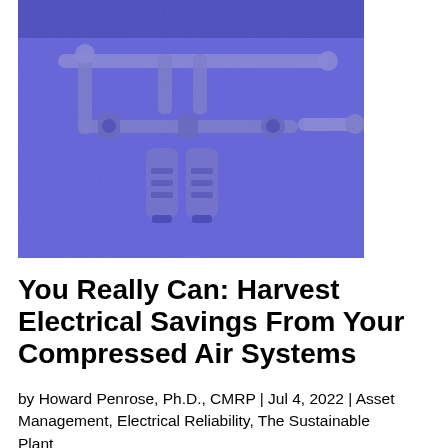[Figure (photo): Blue-tinted photograph of compressed air system piping and filter components mounted on a wall, showing pipes, fittings, valves, and cylindrical filter/dryer units]
You Really Can: Harvest Electrical Savings From Your Compressed Air Systems
by Howard Penrose, Ph.D., CMRP | Jul 4, 2022 | Asset Management, Electrical Reliability, The Sustainable Plant